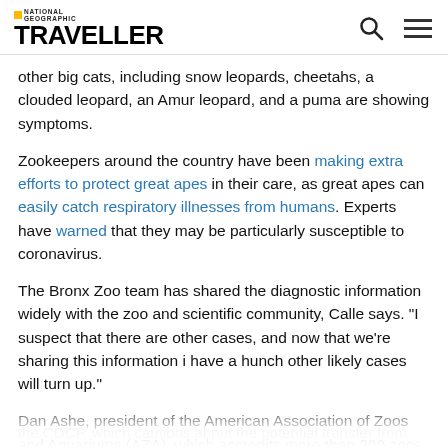National Geographic TRAVELLER
other big cats, including snow leopards, cheetahs, a clouded leopard, an Amur leopard, and a puma are showing symptoms.
Zookeepers around the country have been making extra efforts to protect great apes in their care, as great apes can easily catch respiratory illnesses from humans. Experts have warned that they may be particularly susceptible to coronavirus.
The Bronx Zoo team has shared the diagnostic information widely with the zoo and scientific community, Calle says. "I suspect that there are other cases, and now that we're sharing this information i have a hunch other likely cases will turn up."
Dan Ashe, president of the American Association of Zoos and Aquariums (AZA), which accredits more than 200 zoos in the U.S., including the Bronx Zoo, commends Calle's team for their quick
the CDCP, which cautions about the potential transfer from